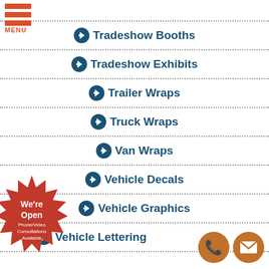Tradeshow Booths
Tradeshow Exhibits
Trailer Wraps
Truck Wraps
Van Wraps
Vehicle Decals
Vehicle Graphics
Vehicle Lettering
[Figure (illustration): Red starburst badge with text: We're Open - Phone/Video Consultations Available]
[Figure (illustration): Orange circle phone icon and orange circle email/envelope icon]